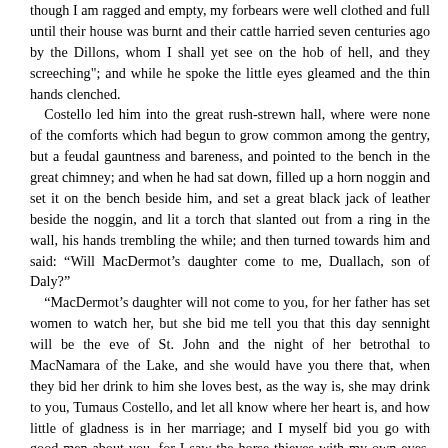though I am ragged and empty, my forbears were well clothed and full until their house was burnt and their cattle harried seven centuries ago by the Dillons, whom I shall yet see on the hob of hell, and they screeching"; and while he spoke the little eyes gleamed and the thin hands clenched.
 Costello led him into the great rush-strewn hall, where were none of the comforts which had begun to grow common among the gentry, but a feudal gauntness and bareness, and pointed to the bench in the great chimney; and when he had sat down, filled up a horn noggin and set it on the bench beside him, and set a great black jack of leather beside the noggin, and lit a torch that slanted out from a ring in the wall, his hands trembling the while; and then turned towards him and said: “Will MacDermot’s daughter come to me, Duallach, son of Daly?”
 “MacDermot’s daughter will not come to you, for her father has set women to watch her, but she bid me tell you that this day sennight will be the eve of St. John and the night of her betrothal to MacNamara of the Lake, and she would have you there that, when they bid her drink to him she loves best, as the way is, she may drink to you, Tumaus Costello, and let all know where her heart is, and how little of gladness is in her marriage; and I myself bid you go with good men about you, for I saw the horse-thieves with my own eyes, and they dancing the “Blue Pigeon” in the air.” And then he held the now empty noggin towards Costello, his hand closing round it like the claw of a bird, and cried: “Fill my noggin again, for I would the day had come when all the water in the world is to shrink into a periwinkle-shell, that I might drink nothing but Poteen.”
 Finding that Costello made no reply, but sat in a dream, he burst out: “Fill my noggin, I tell you, for no Costello is so great in the